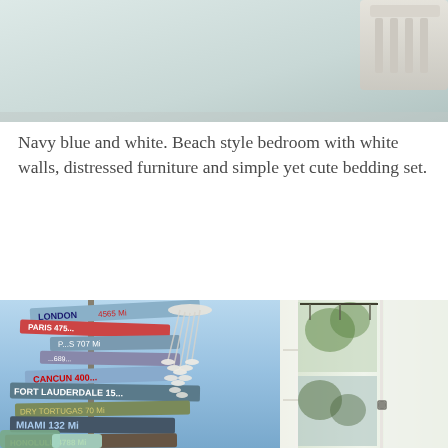[Figure (photo): Top portion of a beach style bedroom showing white/grey walls and a white furniture piece (chair or bed frame) in the upper right corner]
Navy blue and white. Beach style bedroom with white walls, distressed furniture and simple yet cute bedding set.
[Figure (photo): Beach style bedroom interior showing two images side by side: left image shows colorful directional signs (London 4565 mi, Fort Lauderdale, Miami 132 mi, Honolulu 4788 mi, San Francisco 2550 mi, Habana 105 mi, Nassau, Cancun, Dry Tortugas 70 mi, Paris) on a blue sky background with a capiz shell chandelier; right image shows white French doors with sheer curtains and green trees visible outside]